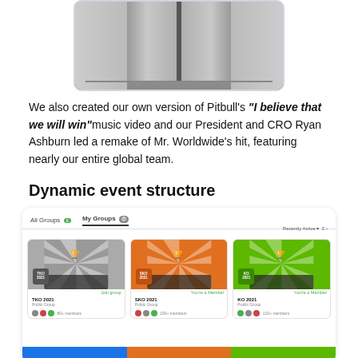[Figure (photo): Black and white photograph of elevator doors (open or partially open), viewed straight-on in a hallway.]
We also created our own version of Pitbull's "I believe that we will win" music video and our President and CRO Ryan Ashburn led a remake of Mr. Worldwide's hit, featuring nearly our entire global team.
Dynamic event structure
[Figure (screenshot): UI screenshot showing a group listing page with tabs 'All Groups' and 'My Groups', and three group cards: TKO 2021 (gray sunburst banner, Public Group, Join group), SKO 2021 (orange sunburst banner, Public Group, You're a Member), KO 2021 (green sunburst banner, Public Group, You're a Member). Bottom shows partial colored banner strips.]